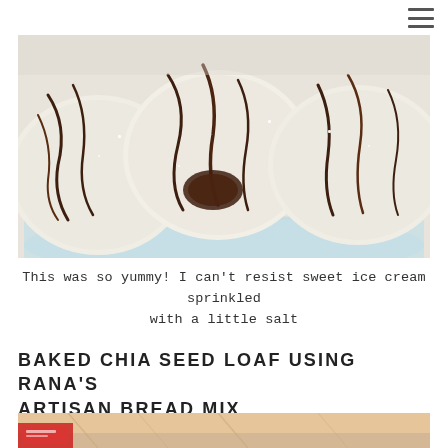[Figure (photo): Close-up photo of ice cream scoops in a light blue bowl, drizzled with dark chocolate sauce and sprinkled with salt]
This was so yummy! I can't resist sweet ice cream sprinkled with a little salt
BAKED CHIA SEED LOAF USING RANA'S ARTISAN BREAD MIX
[Figure (photo): Partial photo of a baked bread loaf with a red label/packaging visible at the bottom left]